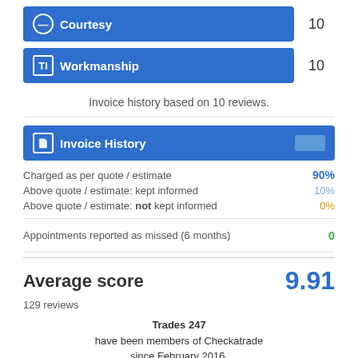Courtesy 10
Workmanship 10
Invoice history based on 10 reviews.
Invoice History
Charged as per quote / estimate 90%
Above quote / estimate: kept informed 10%
Above quote / estimate: not kept informed 0%
Appointments reported as missed (6 months) 0
Average score 9.91
129 reviews
Trades 247 have been members of Checkatrade since February 2016. To view full company profile click here